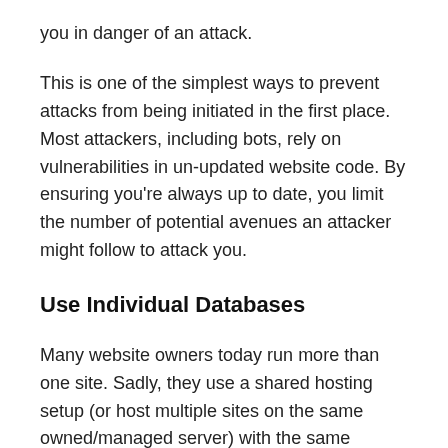you in danger of an attack.
This is one of the simplest ways to prevent attacks from being initiated in the first place. Most attackers, including bots, rely on vulnerabilities in un-updated website code. By ensuring you’re always up to date, you limit the number of potential avenues an attacker might follow to attack you.
Use Individual Databases
Many website owners today run more than one site. Sadly, they use a shared hosting setup (or host multiple sites on the same owned/managed server) with the same database backing them up. Don’t do that. In order to prevent attacks, you should have a separate database for each website you operate, and the…